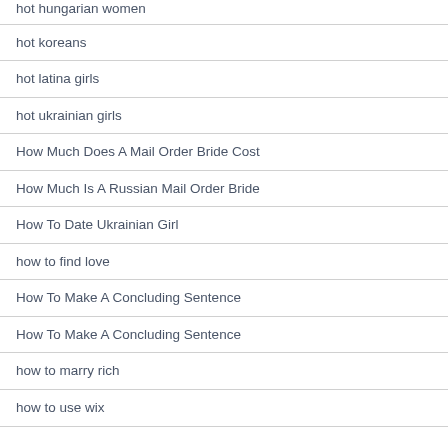hot hungarian women
hot koreans
hot latina girls
hot ukrainian girls
How Much Does A Mail Order Bride Cost
How Much Is A Russian Mail Order Bride
How To Date Ukrainian Girl
how to find love
How To Make A Concluding Sentence
How To Make A Concluding Sentence
how to marry rich
how to use wix